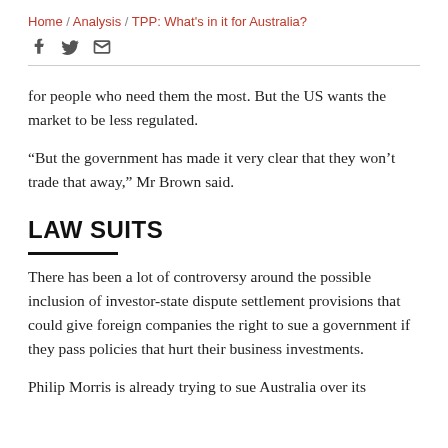Home / Analysis / TPP: What's in it for Australia?
for people who need them the most. But the US wants the market to be less regulated.
“But the government has made it very clear that they won’t trade that away,” Mr Brown said.
LAW SUITS
There has been a lot of controversy around the possible inclusion of investor-state dispute settlement provisions that could give foreign companies the right to sue a government if they pass policies that hurt their business investments.
Philip Morris is already trying to sue Australia over its